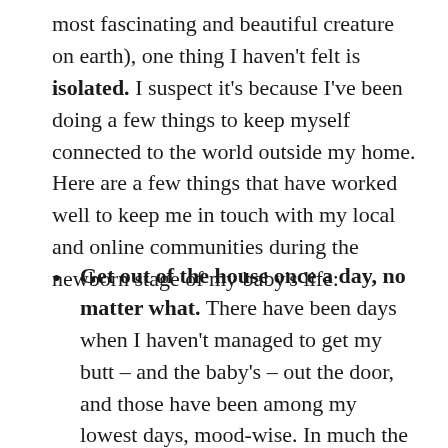most fascinating and beautiful creature on earth), one thing I haven't felt is isolated. I suspect it's because I've been doing a few things to keep myself connected to the world outside my home. Here are a few things that have worked well to keep me in touch with my local and online communities during the newborn stage of my baby's life:
Get out of the house once a day, no matter what. There have been days when I haven't managed to get my butt – and the baby's – out the door, and those have been among my lowest days, mood-wise. In much the same way I had to learn from experience that going to the gym wards off sluggishness, I've discovered that if I can